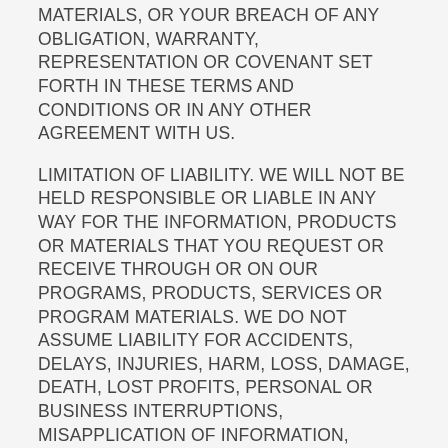MATERIALS, OR YOUR BREACH OF ANY OBLIGATION, WARRANTY, REPRESENTATION OR COVENANT SET FORTH IN THESE TERMS AND CONDITIONS OR IN ANY OTHER AGREEMENT WITH US.
LIMITATION OF LIABILITY. WE WILL NOT BE HELD RESPONSIBLE OR LIABLE IN ANY WAY FOR THE INFORMATION, PRODUCTS OR MATERIALS THAT YOU REQUEST OR RECEIVE THROUGH OR ON OUR PROGRAMS, PRODUCTS, SERVICES OR PROGRAM MATERIALS. WE DO NOT ASSUME LIABILITY FOR ACCIDENTS, DELAYS, INJURIES, HARM, LOSS, DAMAGE, DEATH, LOST PROFITS, PERSONAL OR BUSINESS INTERRUPTIONS, MISAPPLICATION OF INFORMATION, PHYSICAL OR MENTAL DISEASE, CONDITION OR ISSUE, OR OTHERWISE, DUE TO ANY ACT OR DEFAULT OF ANYONE OR ANY BUSINESS, WHETHER OWNERS, STAFF, AGENTS, JOINT VENTURE PARTNERS, CONTRACTORS, VENDORS, AFFILIATES OR OTHERWISE, AFFILIATED WITH US. WE DO NOT ASSUME LIABILITY FOR ANY OWNERS, STAFF, AGENTS, JOINT VENTURE PARTNERS, CONTRACTORS, VENDORS, AFFILIATES OR OTHERWISE WHO IS ENGAGED IN RENDERING OUR PROGRAMS, PRODUCTS, SERVICES OR